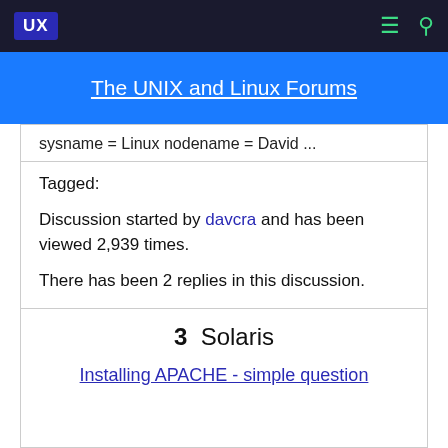UX  [menu icon]  [search icon]
The UNIX and Linux Forums
sysname = Linux nodename = David ...
Tagged:
Discussion started by davcra and has been viewed 2,939 times.
There has been 2 replies in this discussion.
The last reply was by davcra.
3  Solaris
Installing APACHE - simple question